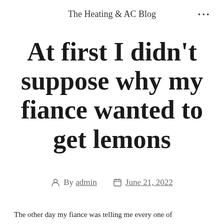The Heating & AC Blog
At first I didn't suppose why my fiance wanted to get lemons
By admin  June 21, 2022
The other day my fiance was telling me every one of